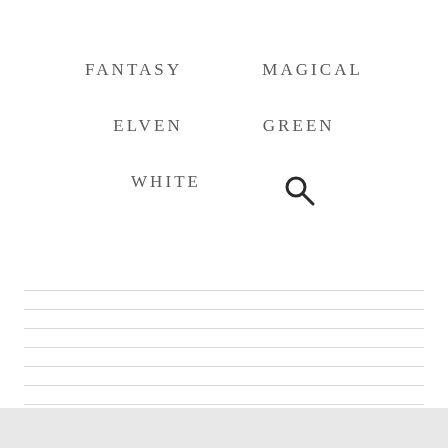FANTASY
MAGICAL
ELVEN
GREEN
WHITE
[Figure (other): Search magnifying glass icon]
[Figure (other): Horizontal ruled lines section with 9 light gray lines]